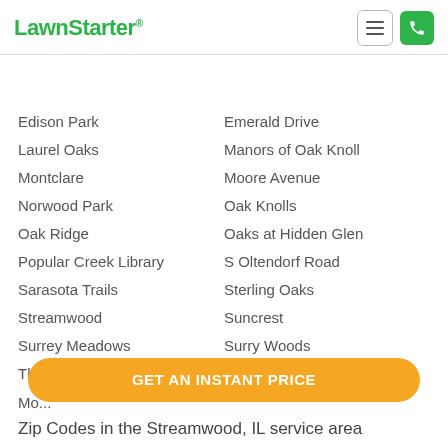LawnStarter
Edison Park
Laurel Oaks
Montclare
Norwood Park
Oak Ridge
Popular Creek Library
Sarasota Trails
Streamwood
Surrey Meadows
The Oaks
Emerald Drive
Manors of Oak Knoll
Moore Avenue
Oak Knolls
Oaks at Hidden Glen
S Oltendorf Road
Sterling Oaks
Suncrest
Surry Woods
Tiffany Place
GET AN INSTANT PRICE
Zip Codes in the Streamwood, IL service area